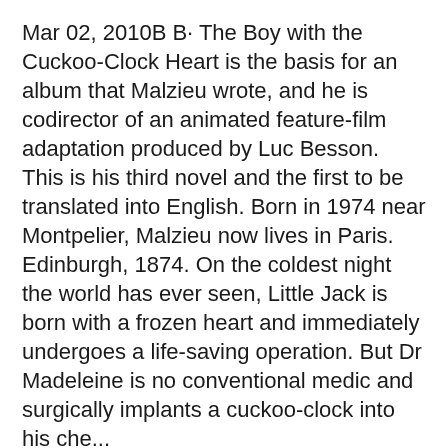Mar 02, 2010B B· The Boy with the Cuckoo-Clock Heart is the basis for an album that Malzieu wrote, and he is codirector of an animated feature-film adaptation produced by Luc Besson. This is his third novel and the first to be translated into English. Born in 1974 near Montpelier, Malzieu now lives in Paris. Edinburgh, 1874. On the coldest night the world has ever seen, Little Jack is born with a frozen heart and immediately undergoes a life-saving operation. But Dr Madeleine is no conventional medic and surgically implants a cuckoo-clock into his che...
Mar 01, 2010B B· Listen to Boy with the Cuckoo-Clock Heart: A Novel audiobook